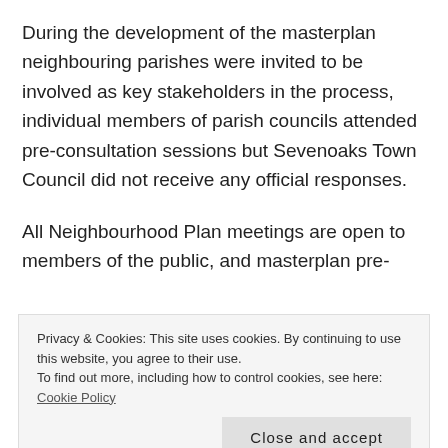During the development of the masterplan neighbouring parishes were invited to be involved as key stakeholders in the process, individual members of parish councils attended pre-consultation sessions but Sevenoaks Town Council did not receive any official responses.
All Neighbourhood Plan meetings are open to members of the public, and masterplan pre-
Privacy & Cookies: This site uses cookies. By continuing to use this website, you agree to their use. To find out more, including how to control cookies, see here: Cookie Policy
Close and accept
Annual Town Public Meeting which over 160 members